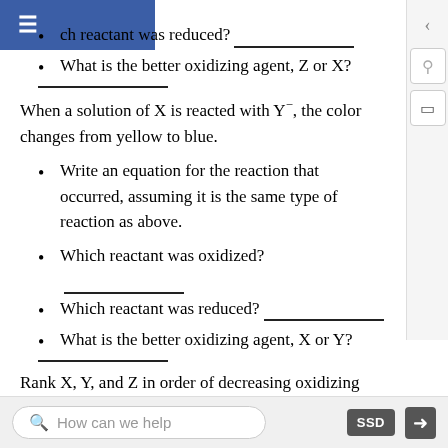ch reactant was reduced? ___________
What is the better oxidizing agent, Z or X? ___________
When a solution of X is reacted with Y⁻, the color changes from yellow to blue.
Write an equation for the reaction that occurred, assuming it is the same type of reaction as above.
Which reactant was oxidized? ____________
Which reactant was reduced? ____________
What is the better oxidizing agent, X or Y? ____________
Rank X, Y, and Z in order of decreasing oxidizing ability